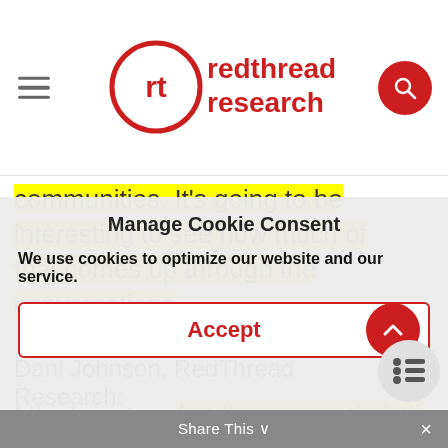RedThread Research (logo/navigation header)
communities. It's going to be interesting to see how much of that comes up through the conversations.
Dani Johnson, RedThread Research:
I think so too, but I'm very optimistic as we just talked about and I think the reason that I
Manage Cookie Consent
We use cookies to optimize our website and our service.
Accept
Share This